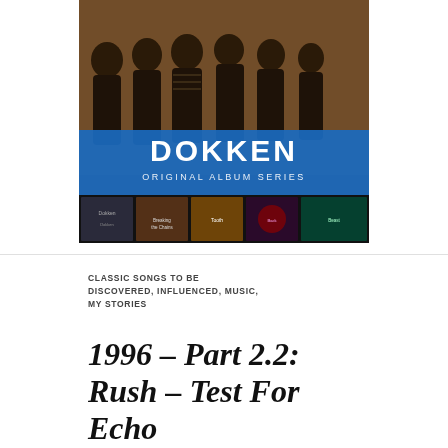[Figure (photo): Dokken Original Album Series box set cover showing the band members in a photo above five album covers arranged in a row, with 'DOKKEN' in large white text and 'ORIGINAL ALBUM SERIES' below it on a blue banner.]
CLASSIC SONGS TO BE DISCOVERED, INFLUENCED, MUSIC, MY STORIES
1996 – Part 2.2: Rush – Test For Echo